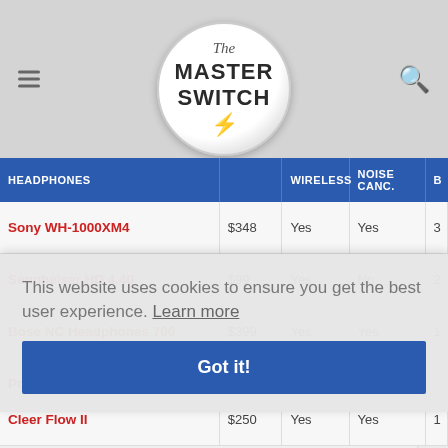The Master Switch
| HEADPHONES | PRICE | WIRELESS | NOISE CANC. | B |
| --- | --- | --- | --- | --- |
| Sony WH-1000XM4 | $348 | Yes | Yes | 3 |
| Sennheiser HD 4.40 | $99 | Yes | No | 2 |
| Bose NC Headphones 700 | $399 | Yes | Yes | 1 |
| Poly BackBeat Fit 500 | $98 | Yes | No | 1 |
| (partial) |  |  |  | 1 |
| (partial) |  |  |  | 2 |
| (partial) |  |  |  | 4 |
| Cleer Flow II | $250 | Yes | Yes | 1 |
This website uses cookies to ensure you get the best user experience. Learn more
Got it!